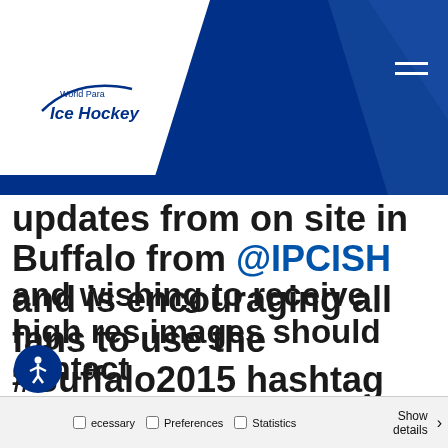< BACK TO PARALYMPIC.ORG
[Figure (logo): World Para Ice Hockey logo with stylized hockey stick curve]
updates from on site in Buffalo from @IPCISH and is encouraging all fans to use the #Buffalo2015 hashtag when tweeting about the tournament.
This website uses cookies
We use cookies to personalise content and ads, to provide social media features and to analyse our traffic. We also share information about your use of our site with our social media, advertising and analytics partners who may combine it with other information that you've provided to them or that they've collected from your use of their services.
Allow all cookies
Allow selection
Use necessary cookies
and wishing to receive high res images should contact
Necessary  Preferences  Statistics  Show details